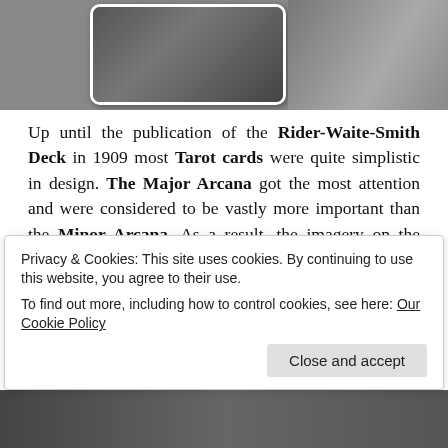[Figure (photo): Black and white photos at top of page — a portrait photo card on the left and a darker image on the right]
Up until the publication of the Rider-Waite-Smith Deck in 1909 most Tarot cards were quite simplistic in design. The Major Arcana got the most attention and were considered to be vastly more important than the Minor Arcana. As a result, the imagery on the Minor Arcana was sadly neglected. Traditionally the Minor Arcana imagery consisted of repetitive emblems of their Suit e.g. 3 Cups for the Three of Cups or 5 Swords to represent the Five of Swords. The emblems were usually drawn on a blank
Privacy & Cookies: This site uses cookies. By continuing to use this website, you agree to their use.
To find out more, including how to control cookies, see here: Our Cookie Policy
[Figure (photo): Bottom image strip — dark photo partially visible at bottom of page]